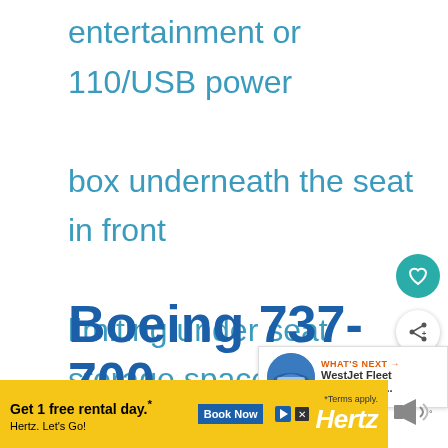entertainment or 110/USB power box underneath the seat in front limiting under seat storage space and legroom.
Boeing 737-700
WestJet Aircraft
[Figure (screenshot): What's Next panel showing WestJet Fleet Boeing 737- thumbnail with airplane image]
[Figure (screenshot): Hertz advertisement banner: Get 1 free rental day.* Hertz. Let's Go! Book Now *Terms apply. Hertz logo]
[Figure (screenshot): Speaker/audio icon in bottom right corner]